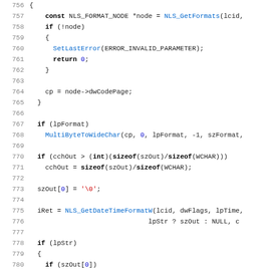[Figure (screenshot): Source code listing lines 756-787 in C/C++, showing a function that handles NLS date/time formatting, with syntax highlighting: keywords in bold black, function names in blue, string literals in red, numbers in blue.]